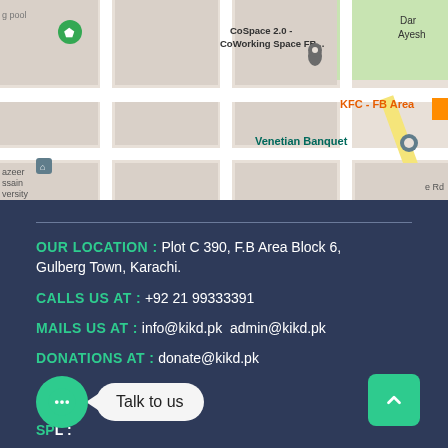[Figure (map): Google Maps view showing FB Area, Karachi with streets, landmarks including CoSpace 2.0 CoWorking Space FB, KFC FB Area, Venetian Banquet, Al Rahman St, and a location pin marker]
OUR LOCATION : Plot C 390, F.B Area Block 6, Gulberg Town, Karachi.
CALLS US AT : +92 21 99333391
MAILS US AT : info@kikd.pk admin@kikd.pk
DONATIONS AT : donate@kikd.pk
SP...L :